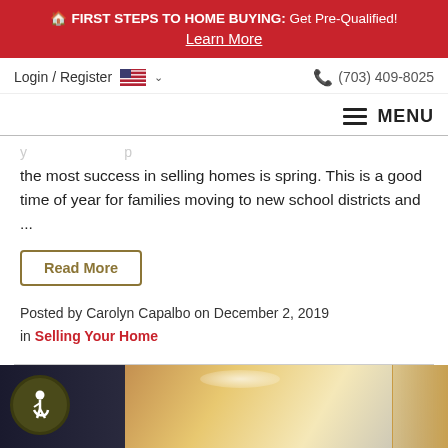FIRST STEPS TO HOME BUYING: Get Pre-Qualified! Learn More
Login / Register  (703) 409-8025
MENU
the most success in selling homes is spring. This is a good time of year for families moving to new school districts and ...
Read More
Posted by Carolyn Capalbo on December 2, 2019 in Selling Your Home
[Figure (photo): Bottom portion of page showing partial kitchen interior photo with wooden cabinets and an accessibility icon badge overlay on the left side]